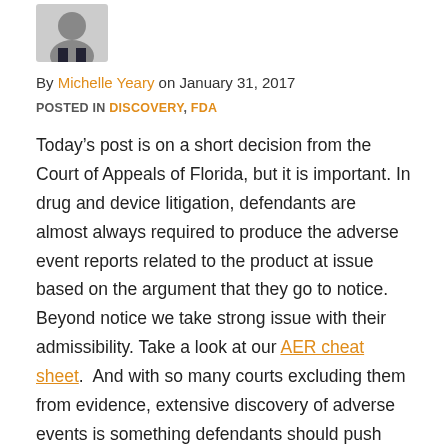[Figure (photo): Small circular or portrait photo of Michelle Yeary, partially cropped at top of page]
By Michelle Yeary on January 31, 2017
POSTED IN DISCOVERY, FDA
Today’s post is on a short decision from the Court of Appeals of Florida, but it is important. In drug and device litigation, defendants are almost always required to produce the adverse event reports related to the product at issue based on the argument that they go to notice. Beyond notice we take strong issue with their admissibility. Take a look at our AER cheat sheet.  And with so many courts excluding them from evidence, extensive discovery of adverse events is something defendants should push back on. As part of that push back, defendants should never overlook raising the burden of